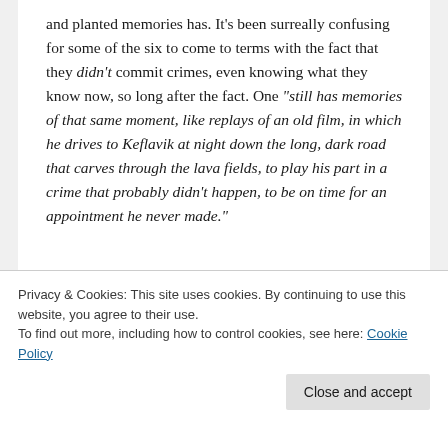and planted memories has. It's been surreally confusing for some of the six to come to terms with the fact that they didn't commit crimes, even knowing what they know now, so long after the fact. One “still has memories of that same moment, like replays of an old film, in which he drives to Keflavik at night down the long, dark road that carves through the lava fields, to play his part in a crime that probably didn’t happen, to be on time for an appointment he never made.”
Privacy & Cookies: This site uses cookies. By continuing to use this website, you agree to their use.
To find out more, including how to control cookies, see here: Cookie Policy
that’s like a mini cultural and social tour of Iceland.